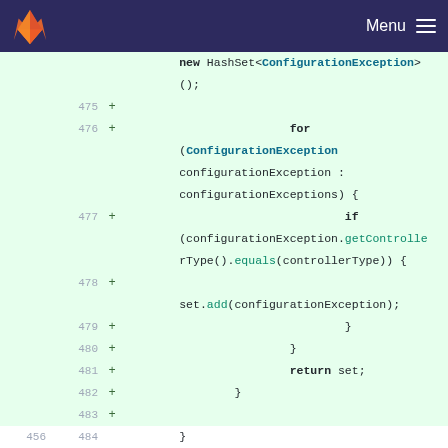Menu
[Figure (screenshot): GitLab code diff view showing Java code lines 475-487, with line 456/484 as a neutral line. Added lines (green background) show a for loop iterating over configurationExceptions, an if statement checking getControllerType().equals(controllerType), set.add(configurationException), closing braces, and return set statement.]